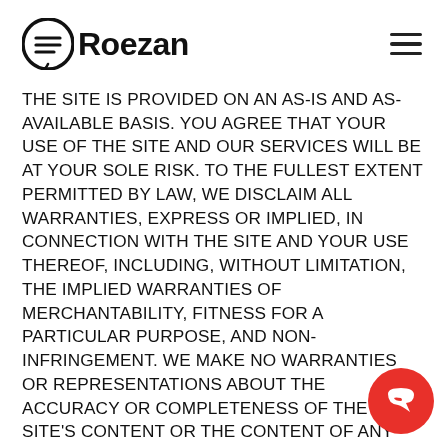Roezan
THE SITE IS PROVIDED ON AN AS-IS AND AS-AVAILABLE BASIS. YOU AGREE THAT YOUR USE OF THE SITE AND OUR SERVICES WILL BE AT YOUR SOLE RISK. TO THE FULLEST EXTENT PERMITTED BY LAW, WE DISCLAIM ALL WARRANTIES, EXPRESS OR IMPLIED, IN CONNECTION WITH THE SITE AND YOUR USE THEREOF, INCLUDING, WITHOUT LIMITATION, THE IMPLIED WARRANTIES OF MERCHANTABILITY, FITNESS FOR A PARTICULAR PURPOSE, AND NON-INFRINGEMENT. WE MAKE NO WARRANTIES OR REPRESENTATIONS ABOUT THE ACCURACY OR COMPLETENESS OF THE SITE'S CONTENT OR THE CONTENT OF ANY WEBSITES LINKED TO THE SITE AND WE WILL ASSUME NO LIABILITY OR RESPONSIBILITY FOR ANY (1) ERRORS, MISTAKES, INACCURACIES OF CONTENT AND MATERIALS, (2)